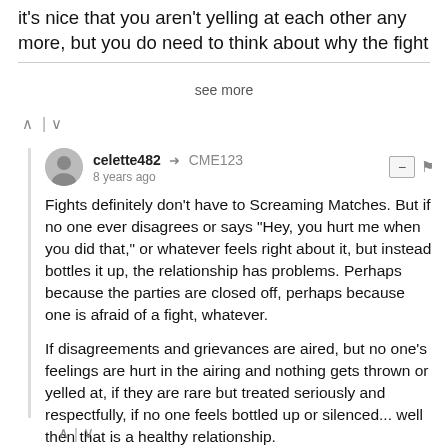it's nice that you aren't yelling at each other any more, but you do need to think about why the fight
see more
^ | v
celette482 → CME123
8 years ago

Fights definitely don't have to Screaming Matches. But if no one ever disagrees or says "Hey, you hurt me when you did that," or whatever feels right about it, but instead bottles it up, the relationship has problems. Perhaps because the parties are closed off, perhaps because one is afraid of a fight, whatever.

If disagreements and grievances are aired, but no one's feelings are hurt in the airing and nothing gets thrown or yelled at, if they are rare but treated seriously and respectfully, if no one feels bottled up or silenced... well then that is a healthy relationship.
^ | v